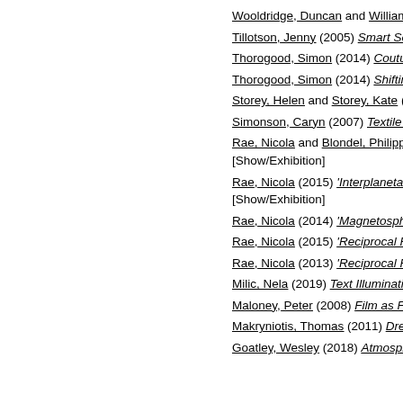Wooldridge, Duncan and Williams, A...
Tillotson, Jenny (2005) Smart Second...
Thorogood, Simon (2014) Couture Gr...
Thorogood, Simon (2014) Shifting Pa...
Storey, Helen and Storey, Kate (2018...
Simonson, Caryn (2007) Textile trans...
Rae, Nicola and Blondel, Philippe (20... [Show/Exhibition]
Rae, Nicola (2015) 'Interplanetary Ra... [Show/Exhibition]
Rae, Nicola (2014) 'Magnetospheric R...
Rae, Nicola (2015) 'Reciprocal Resor...
Rae, Nicola (2013) 'Reciprocal Resor...
Milic, Nela (2019) Text Illuminations. ...
Maloney, Peter (2008) Film as Form (...
Makryniotis, Thomas (2011) DressCo...
Goatley, Wesley (2018) Atmospheric...